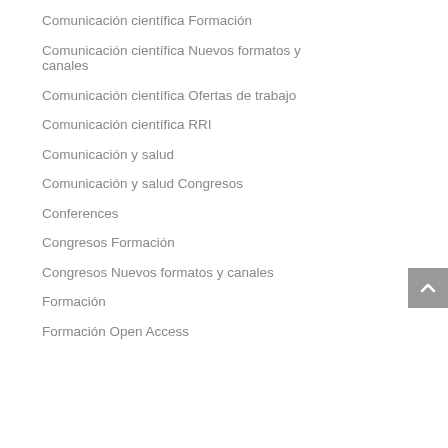Comunicación científica Formación
Comunicación científica Nuevos formatos y canales
Comunicación científica Ofertas de trabajo
Comunicación científica RRI
Comunicación y salud
Comunicación y salud Congresos
Conferences
Congresos Formación
Congresos Nuevos formatos y canales
Formación
Formación Open Access